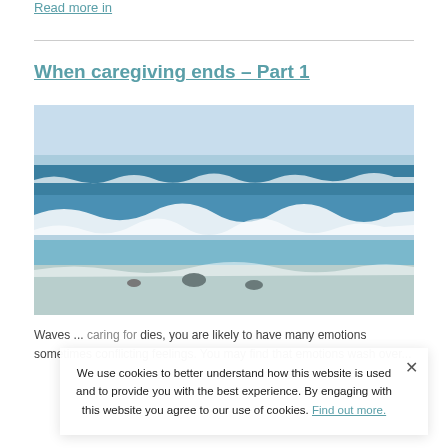Read more in
When caregiving ends – Part 1
[Figure (photo): Ocean waves crashing on a sandy beach with blue sky in the background]
Waves ... caring for dies, you are likely to have many emotions sometimes conflicting feelings. You may find that emotions wash over...
We use cookies to better understand how this website is used and to provide you with the best experience. By engaging with this website you agree to our use of cookies. Find out more.